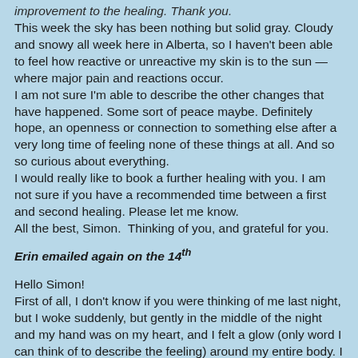improvement to the healing. Thank you.
This week the sky has been nothing but solid gray. Cloudy and snowy all week here in Alberta, so I haven't been able to feel how reactive or unreactive my skin is to the sun — where major pain and reactions occur.
I am not sure I'm able to describe the other changes that have happened. Some sort of peace maybe. Definitely hope, an openness or connection to something else after a very long time of feeling none of these things at all. And so so curious about everything.
I would really like to book a further healing with you. I am not sure if you have a recommended time between a first and second healing. Please let me know.
All the best, Simon.  Thinking of you, and grateful for you.
Erin emailed again on the 14th
Hello Simon!
First of all, I don't know if you were thinking of me last night, but I woke suddenly, but gently in the middle of the night and my hand was on my heart, and I felt a glow (only word I can think of to describe the feeling) around my entire body. I